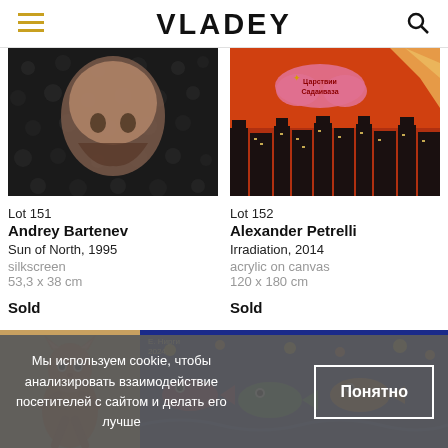VLADEY
[Figure (photo): Artwork photo for Lot 151: close-up abstract figure in dark tones, skull-like face with dotted background, silkscreen print]
Lot 151
Andrey Bartenev
Sun of North, 1995
silkscreen
53,3 x 38 cm

Sold
[Figure (photo): Artwork photo for Lot 152: cityscape with dark silhouette buildings against orange-red sky with a pink cloud and text, acrylic on canvas]
Lot 152
Alexander Petrelli
Irradiation, 2014
acrylic on canvas
120 x 180 cm

Sold
Мы используем cookie, чтобы анализировать взаимодействие посетителей с сайтом и делать его лучше
Понятно
[Figure (photo): Partial view of artworks at bottom of page: left side shows a cartoon-like figure in brown/orange tones; right side shows a colorful painting with fish/sea creatures on dark blue background]